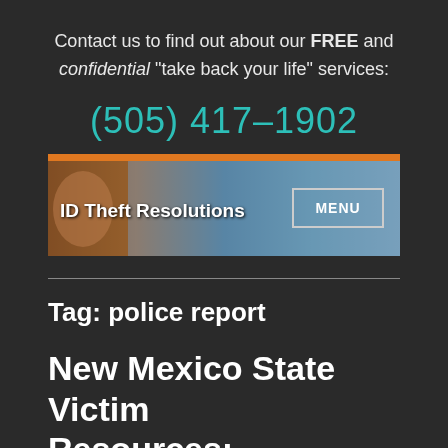Contact us to find out about our FREE and confidential "take back your life" services:
(505) 417-1902
[Figure (screenshot): Navigation banner for ID Theft Resolutions website with colorful background image showing a person and sky, with site name on left and MENU button on right]
Tag: police report
New Mexico State Victim Resources: